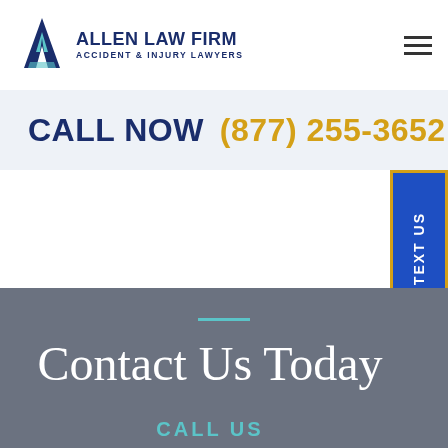[Figure (logo): Allen Law Firm logo with 'A' triangle icon and text 'ALLEN LAW FIRM ACCIDENT & INJURY LAWYERS']
CALL NOW  (877) 255-3652
[Figure (other): TEXT US sidebar button in blue with gold border]
Contact Us Today
CALL US